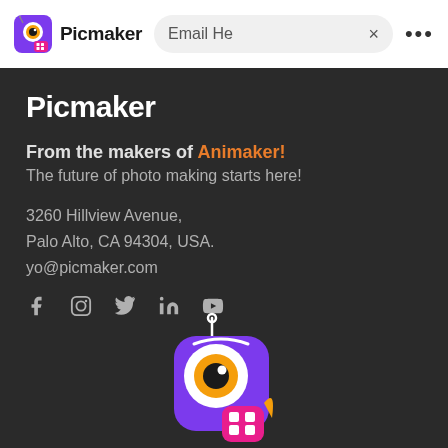[Figure (logo): Picmaker app logo icon (purple rounded square with camera/eye motif)]
Picmaker
Email He
Picmaker  Email He  ×  •••
Picmaker
From the makers of Animaker!
The future of photo making starts here!
3260 Hillview Avenue,
Palo Alto, CA 94304, USA.
yo@picmaker.com
[Figure (logo): Social media icons: Facebook, Instagram, Twitter, LinkedIn, YouTube]
[Figure (logo): Picmaker app mascot with robot stick figure attached to purple app icon with camera eye and pink badge with grid icon]